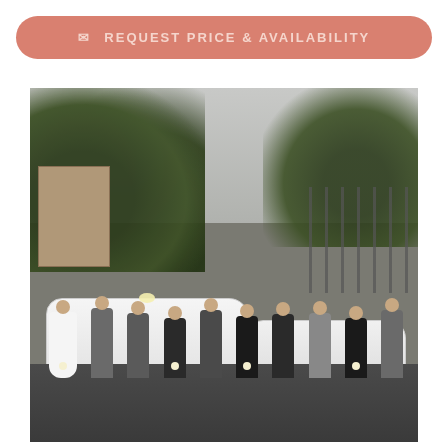✉ REQUEST PRICE & AVAILABILITY
[Figure (photo): Wedding party photo with bride in white gown, groom and groomsmen in grey suits, bridesmaids in black dresses, standing in front of two white Mercedes-Benz luxury cars in a parking area with trees and a building in the background.]